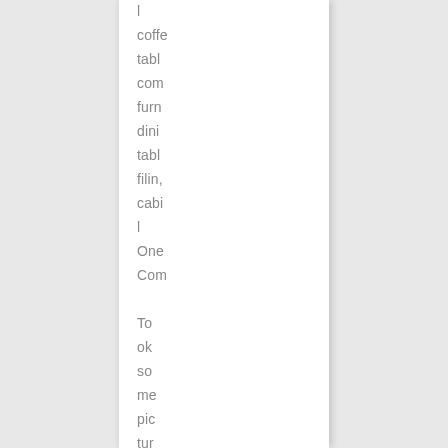l coffe tabl com furn dini tabl filin, cabi l One Com To ok so me pic tur es of